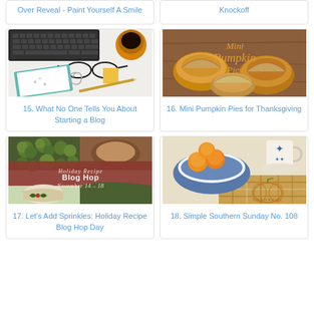Over Reveal - Paint Yourself A Smile
Knockoff
[Figure (photo): Flat lay of a desk with keyboard, coffee cup, glasses, a teal notebook with dandelion design, pencil and paperclips on a white surface]
15. What No One Tells You About Starting a Blog
[Figure (photo): Mini pumpkin pies on a wooden surface with text overlay reading Mini Pumpkin Pies]
16. Mini Pumpkin Pies for Thanksgiving
[Figure (photo): Holiday Recipe Blog Hop November 14-18 graphic with brussels sprouts and holiday dishes]
17. Let's Add Sprinkles: Holiday Recipe Blog Hop Day
[Figure (photo): Orange fruits in a blue bowl, a mug, and a plaid napkin with a pumpkin design, 'THANKFUL' text visible]
18. Simple Southern Sunday No. 108